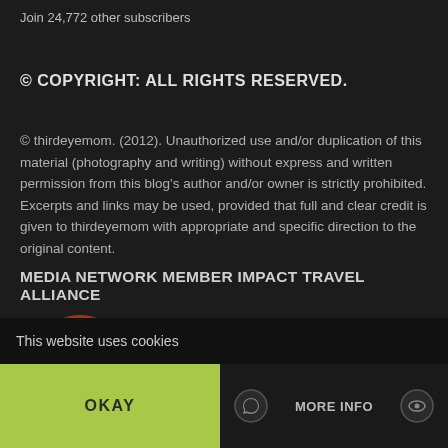Join 24,772 other subscribers
© COPYRIGHT: ALL RIGHTS RESERVED.
© thirdeyemom. (2012). Unauthorized use and/or duplication of this material (photography and writing) without express and written permission from this blog's author and/or owner is strictly prohibited. Excerpts and links may be used, provided that full and clear credit is given to thirdeyemom with appropriate and specific direction to the original content.
MEDIA NETWORK MEMBER IMPACT TRAVEL ALLIANCE
[Figure (logo): Partial logo with orange/red circular element on dark background]
This website uses cookies
OKAY
MORE INFO